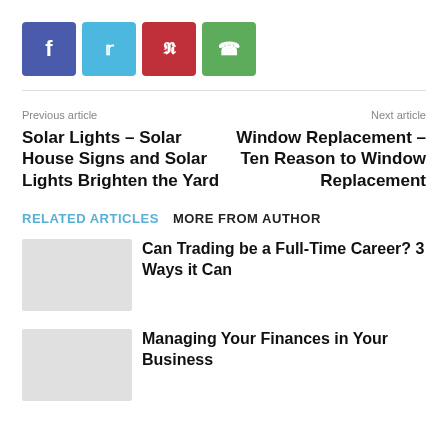[Figure (other): Social sharing buttons: Facebook (purple-blue), Twitter (light blue), Pinterest (red), WhatsApp (green)]
Previous article
Next article
Solar Lights – Solar House Signs and Solar Lights Brighten the Yard
Window Replacement – Ten Reason to Window Replacement
RELATED ARTICLES   MORE FROM AUTHOR
Can Trading be a Full-Time Career? 3 Ways it Can
Managing Your Finances in Your Business